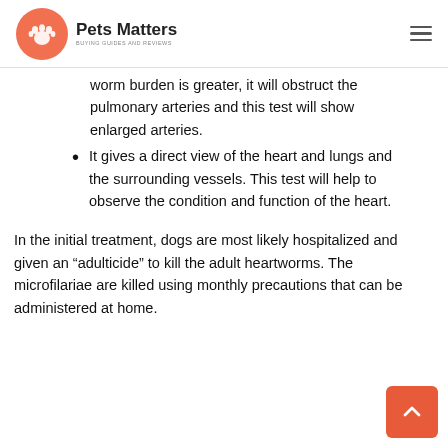Pets Matters
worm burden is greater, it will obstruct the pulmonary arteries and this test will show enlarged arteries.
It gives a direct view of the heart and lungs and the surrounding vessels. This test will help to observe the condition and function of the heart.
In the initial treatment, dogs are most likely hospitalized and given an “adulticide” to kill the adult heartworms. The microfilariae are killed using monthly precautions that can be administered at home.